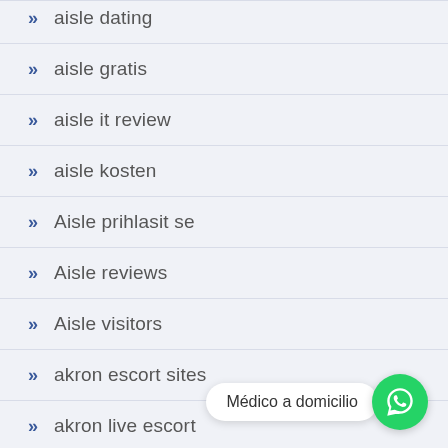aisle dating
aisle gratis
aisle it review
aisle kosten
Aisle prihlasit se
Aisle reviews
Aisle visitors
akron escort sites
akron live escort
akron reviews
Médico a domicilio